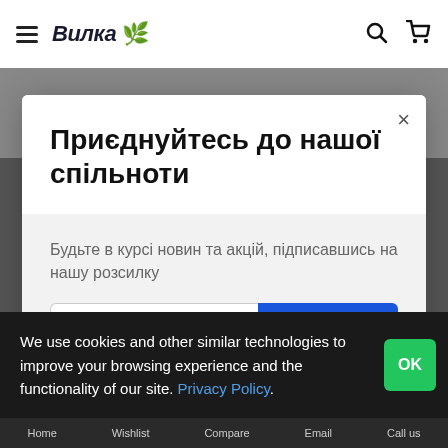Вилка 🌿
Приєднуйтесь до нашої спільноти
Будьте в курсі новин та акцій, підписавшись на нашу розсилку
Електронна пошта  Надіслати
We use cookies and other similar technologies to improve your browsing experience and the functionality of our site. Privacy Policy.
Home  Wishlist  Compare  Email  Call us